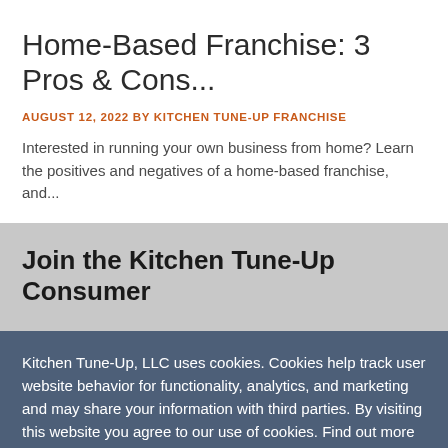Home-Based Franchise: 3 Pros & Cons...
AUGUST 12, 2022 BY KITCHEN TUNE-UP FRANCHISE
Interested in running your own business from home? Learn the positives and negatives of a home-based franchise, and...
Join the Kitchen Tune-Up Consumer
Kitchen Tune-Up, LLC uses cookies. Cookies help track user website behavior for functionality, analytics, and marketing and may share your information with third parties. By visiting this website you agree to our use of cookies. Find out more about our Privacy Policy.